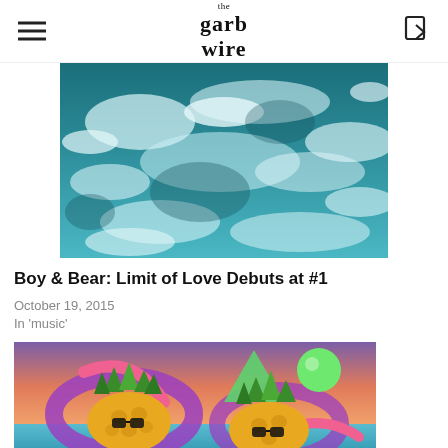the garb wire
[Figure (photo): Aerial view of ocean waves, teal and white sea foam]
Boy & Bear: Limit of Love Debuts at #1
October 19, 2015
In 'music'
[Figure (illustration): Colorful illustration with cartoon pineapples wearing sunglasses, purple rings, geometric shapes, green sphere, on a vibrant sunset background]